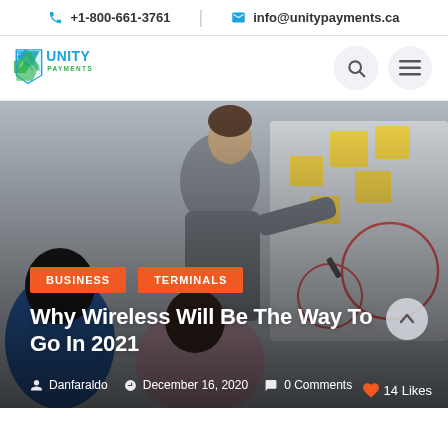+1-800-661-3761  info@unitypayments.ca
[Figure (logo): Unity Payments logo — green/blue checkmark shield icon with 'UNITY PAYMENTS' text]
[Figure (photo): People standing around a whiteboard with sticky notes, collaborating in an office setting]
BUSINESS   TERMINALS
Why Wireless Will Be The Way To Go In 2021
Danfaraldo   December 16, 2020   0 Comments
14 Likes